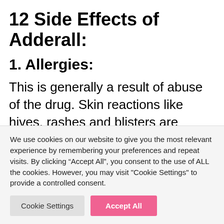12 Side Effects of Adderall:
1. Allergies:
This is generally a result of abuse of the drug. Skin reactions like hives, rashes and blisters are common in such cases. Contact your doctor at once if you see such problem occurring. Such conditions may also be noticeable when taken under medical
We use cookies on our website to give you the most relevant experience by remembering your preferences and repeat visits. By clicking “Accept All”, you consent to the use of ALL the cookies. However, you may visit "Cookie Settings" to provide a controlled consent.